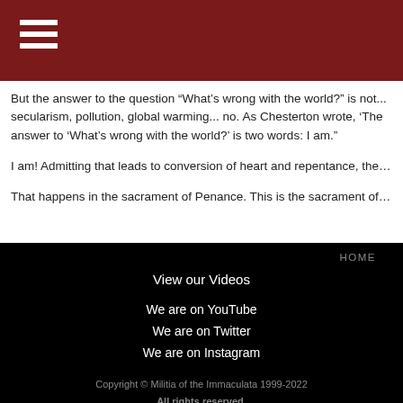But the answer to the question “What’s wrong with the world?” is not... secularism, pollution, global warming... no. As Chesterton wrote, ‘The answer to ‘What’s wrong with the world?’ is two words: I am.”
I am! Admitting that leads to conversion of heart and repentance, the…
That happens in the sacrament of Penance. This is the sacrament of…
HOME
View our Videos
We are on YouTube
We are on Twitter
We are on Instagram
Copyright © Militia of the Immaculata 1999-2022
All rights reserved.